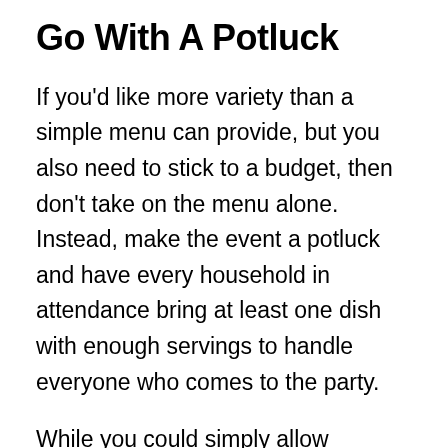Go With A Potluck
If you'd like more variety than a simple menu can provide, but you also need to stick to a budget, then don't take on the menu alone. Instead, make the event a potluck and have every household in attendance bring at least one dish with enough servings to handle everyone who comes to the party.
While you could simply allow attendees to bring any item they want, that isn't always wise. With that approach, you run the risk of multiple households choosing the same dish, leading to a